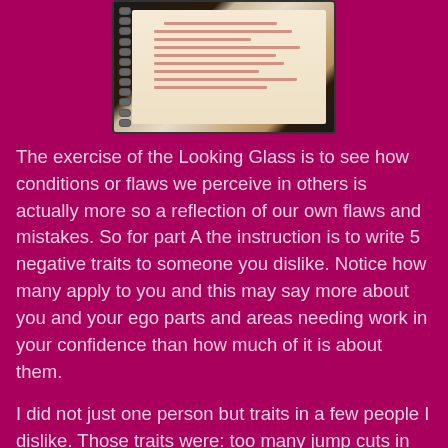[Figure (photo): A spiral-bound notebook with handwritten notes in red/orange ink, photographed on a dark purple background. The notebook has decorative elements visible on the right side.]
The exercise of the Looking Glass is to see how conditions or flaws we perceive in others is actually more so a reflection of our own flaws and mistakes. So for part A the instruction is to write 5 negative traits to someone you dislike. Notice how many apply to you and this may say more about you and your ego parts and areas needing work in your confidence than how much of it is about them.
I did not just one person but traits in a few people I dislike. Those traits were: too many jump cuts in